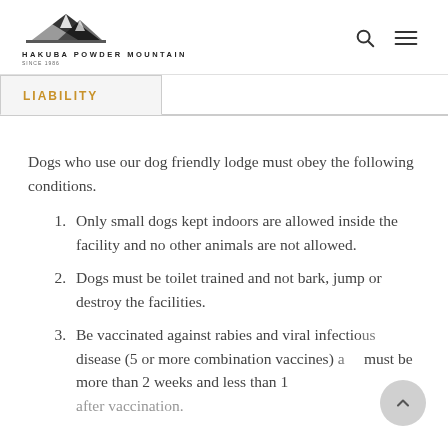Hakuba Powder Mountain
LIABILITY
Dogs who use our dog friendly lodge must obey the following conditions.
Only small dogs kept indoors are allowed inside the facility and no other animals are not allowed.
Dogs must be toilet trained and not bark, jump or destroy the facilities.
Be vaccinated against rabies and viral infectious disease (5 or more combination vaccines) and must be more than 2 weeks and less than 1 after vaccination.